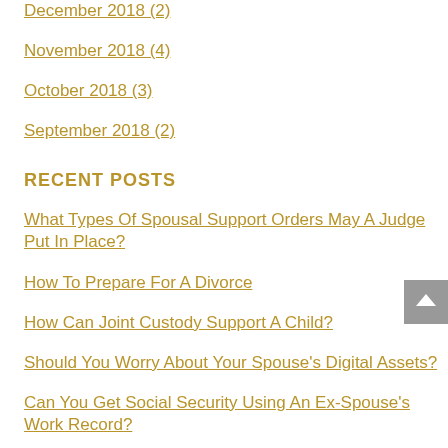December 2018 (2)
November 2018 (4)
October 2018 (3)
September 2018 (2)
RECENT POSTS
What Types Of Spousal Support Orders May A Judge Put In Place?
How To Prepare For A Divorce
How Can Joint Custody Support A Child?
Should You Worry About Your Spouse's Digital Assets?
Can You Get Social Security Using An Ex-Spouse's Work Record?